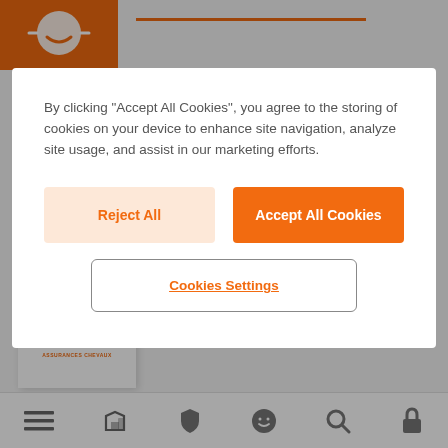[Figure (screenshot): Website background showing orange logo circle top-left, orange horizontal line, an insurance product card at bottom-left, and a bottom navigation bar with icons. A cookie consent modal overlay is displayed prominently.]
By clicking “Accept All Cookies”, you agree to the storing of cookies on your device to enhance site navigation, analyze site usage, and assist in our marketing efforts.
Reject All
Accept All Cookies
Cookies Settings